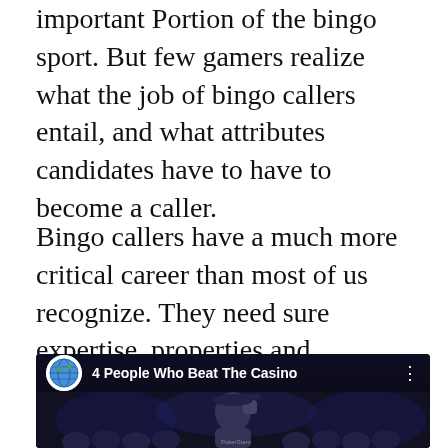important Portion of the bingo sport. But few gamers realize what the job of bingo callers entail, and what attributes candidates have to have to become a caller.
Bingo callers have a much more critical career than most of us recognize. They need sure expertise, properties and instruction. Like every other task, staying a bingo caller has its strengths, benefits and difficulties.
[Figure (screenshot): YouTube video thumbnail showing '4 People Who Beat The Casino' with a globe icon and a person in a PokerStars cap celebrating]